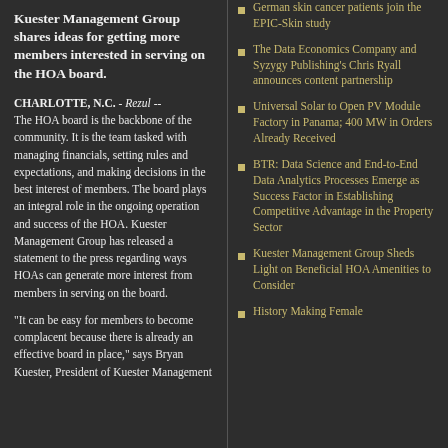Kuester Management Group shares ideas for getting more members interested in serving on the HOA board.
CHARLOTTE, N.C. - Rezul -- The HOA board is the backbone of the community. It is the team tasked with managing financials, setting rules and expectations, and making decisions in the best interest of members. The board plays an integral role in the ongoing operation and success of the HOA. Kuester Management Group has released a statement to the press regarding ways HOAs can generate more interest from members in serving on the board.
"It can be easy for members to become complacent because there is already an effective board in place," says Bryan Kuester, President of Kuester Management
German skin cancer patients join the EPIC-Skin study
The Data Economics Company and Syzygy Publishing's Chris Ryall announces content partnership
Universal Solar to Open PV Module Factory in Panama; 400 MW in Orders Already Received
BTR: Data Science and End-to-End Data Analytics Processes Emerge as Success Factor in Establishing Competitive Advantage in the Property Sector
Kuester Management Group Sheds Light on Beneficial HOA Amenities to Consider
History Making Female